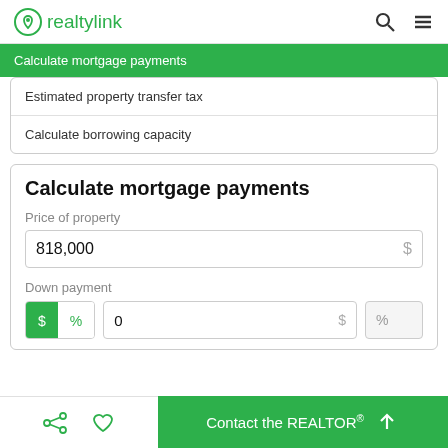realtylink
Calculate mortgage payments
Estimated property transfer tax
Calculate borrowing capacity
Calculate mortgage payments
Price of property
818,000  $
Down payment
$  %  0  $  %
Contact the REALTOR®